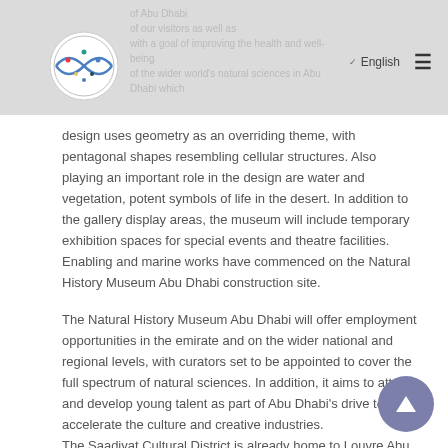Navigation header with logo and English language selector
design uses geometry as an overriding theme, with pentagonal shapes resembling cellular structures. Also playing an important role in the design are water and vegetation, potent symbols of life in the desert. In addition to the gallery display areas, the museum will include temporary exhibition spaces for special events and theatre facilities. Enabling and marine works have commenced on the Natural History Museum Abu Dhabi construction site.
The Natural History Museum Abu Dhabi will offer employment opportunities in the emirate and on the wider national and regional levels, with curators set to be appointed to cover the full spectrum of natural sciences. In addition, it aims to attract and develop young talent as part of Abu Dhabi's drive to accelerate the culture and creative industries.
The Saadiyat Cultural District is already home to Louvre Abu Dhabi, the globally celebrated universal museum designed